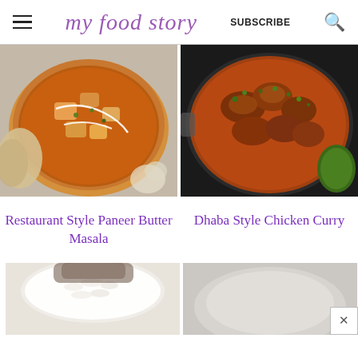my food story | SUBSCRIBE
[Figure (photo): Overhead view of Restaurant Style Paneer Butter Masala in a bowl with cream drizzle and naan on side]
[Figure (photo): Overhead view of Dhaba Style Chicken Curry in a pan with cilantro garnish]
Restaurant Style Paneer Butter Masala
Dhaba Style Chicken Curry
[Figure (photo): Partial view of white rice dish from below]
[Figure (photo): Partial blurred white/grey food photo from below]